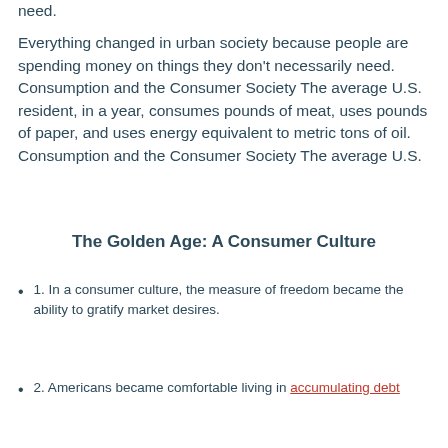need.
Everything changed in urban society because people are spending money on things they don't necessarily need. Consumption and the Consumer Society The average U.S. resident, in a year, consumes pounds of meat, uses pounds of paper, and uses energy equivalent to metric tons of oil. Consumption and the Consumer Society The average U.S.
The Golden Age: A Consumer Culture
1. In a consumer culture, the measure of freedom became the ability to gratify market desires.
2. Americans became comfortable living in accumulating debt